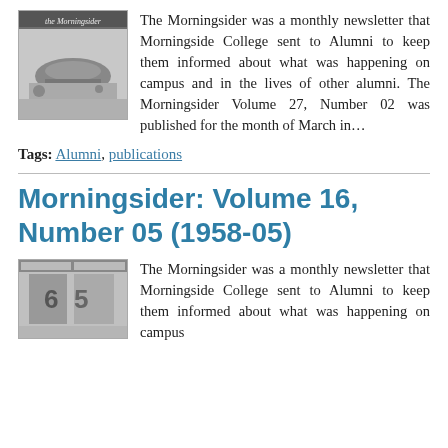[Figure (photo): Black and white photo of The Morningsider newsletter cover showing a bandshell or amphitheater on campus]
The Morningsider was a monthly newsletter that Morningside College sent to Alumni to keep them informed about what was happening on campus and in the lives of other alumni. The Morningsider Volume 27, Number 02 was published for the month of March in…
Tags: Alumni, publications
Morningsider: Volume 16, Number 05 (1958-05)
[Figure (photo): Black and white photo of The Morningsider newsletter cover showing a person or figure]
The Morningsider was a monthly newsletter that Morningside College sent to Alumni to keep them informed about what was happening on campus